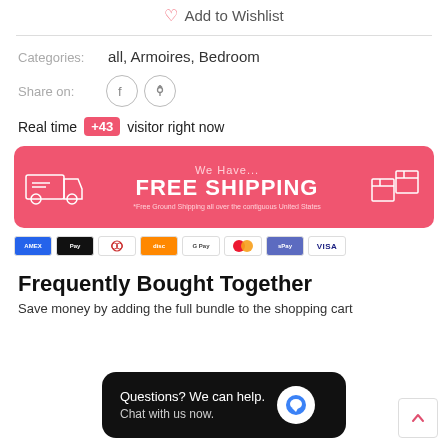Add to Wishlist
Categories: all, Armoires, Bedroom
Share on:
Real time +43 visitor right now
[Figure (infographic): Red/coral banner with truck icon on left, boxes on right, text: We Have... FREE SHIPPING, *Free Ground Shipping all over the contiguous United States]
[Figure (infographic): Payment method icons: American Express, Apple Pay, Diners Club, Discover, Google Pay, Mastercard, ShopPay, Visa]
Frequently Bought Together
Save money by adding the full bundle to the shopping cart
Questions? We can help. Chat with us now.